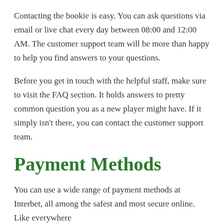Contacting the bookie is easy. You can ask questions via email or live chat every day between 08:00 and 12:00 AM. The customer support team will be more than happy to help you find answers to your questions.
Before you get in touch with the helpful staff, make sure to visit the FAQ section. It holds answers to pretty common question you as a new player might have. If it simply isn't there, you can contact the customer support team.
Payment Methods
You can use a wide range of payment methods at Interbet, all among the safest and most secure online. Like everywhere